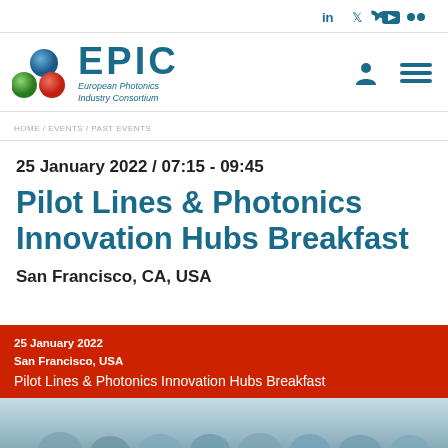Social icons: LinkedIn, Twitter, YouTube, Flickr
[Figure (logo): EPIC European Photonics Industry Consortium logo with colored spheres (blue, green, red)]
HOME / EVENTS / PAST EVENTS
25 January 2022 / 07:15 - 09:45
Pilot Lines & Photonics Innovation Hubs Breakfast
San Francisco, CA, USA
[Figure (infographic): Red banner card showing: 25 January 2022, San Francisco, USA, Pilot Lines & Photonics Innovation Hubs Breakfast, with crowd photo below]